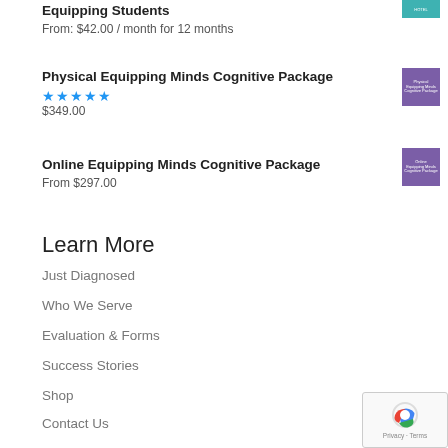Equipping Students
From: $42.00 / month for 12 months
Physical Equipping Minds Cognitive Package
★★★★★
$349.00
Online Equipping Minds Cognitive Package
From $297.00
Learn More
Just Diagnosed
Who We Serve
Evaluation & Forms
Success Stories
Shop
Contact Us